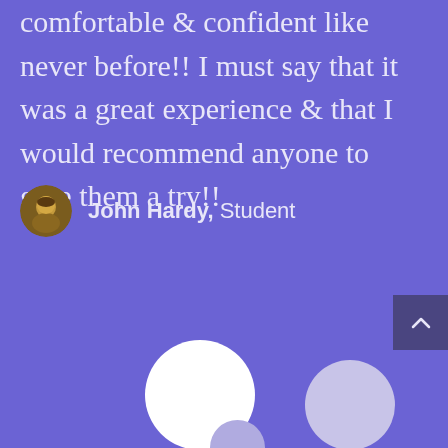comfortable & confident like never before!! I must say that it was a great experience & that I would recommend anyone to give them a try!!
John Hardy, Student
[Figure (illustration): Decorative circles on purple background — one large white circle, one medium lavender circle, one small lavender circle. Also a scroll-to-top button in dark purple.]